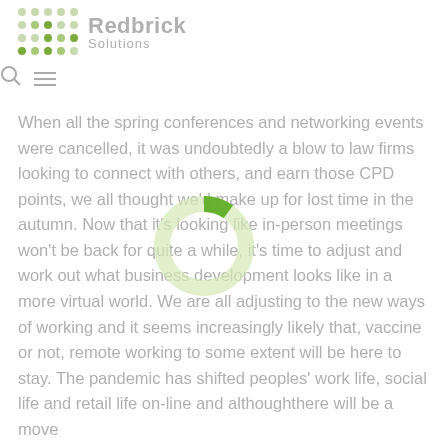Redbrick Solutions
[Figure (donut-chart): Donut chart showing a small green segment (approximately 10%) against a light green ring background, overlaid on the body text.]
When all the spring conferences and networking events were cancelled, it was undoubtedly a blow to law firms looking to connect with others, and earn those CPD points, we all thought we'd make up for lost time in the autumn. Now that it's looking like in-person meetings won't be back for quite a while, it's time to adjust and work out what business development looks like in a more virtual world. We are all adjusting to the new ways of working and it seems increasingly likely that, vaccine or not, remote working to some extent will be here to stay. The pandemic has shifted peoples' work life, social life and retail life on-line and althoughthere will be a move